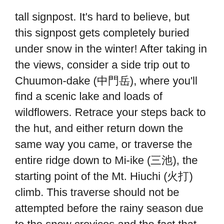tall signpost. It's hard to believe, but this signpost gets completely buried under snow in the winter! After taking in the views, consider a side trip out to Chuumon-dake (中門岳), where you'll find a scenic lake and loads of wildflowers. Retrace your steps back to the hut, and either return down the same way you came, or traverse the entire ridge down to Mi-ike (三池), the starting point of the Mt. Hiuchi (火打) climb. This traverse should not be attempted before the rainy season due to the snow crevices and the fact that there are no markings to help guide you through the snow.
When to go: This hike can be done from Golden Week to early November. A winter hike is also possible if you're prepared for the massive amount of snow. I hiked in Golden Week and there was still over 2 meters of snow remaining. There are a few minshuku just a short distance from the trailhead and the owner can be booked...